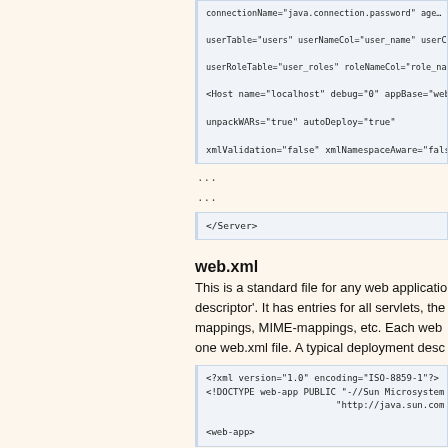[Figure (screenshot): Code block showing XML configuration snippet with userTable, userNameCol, userRoleTable, roleNameCol attributes, and Host element with localhost, debug, appBase, unpackWARs, autoDeploy, xmlValidation, xmlNamespaceAware attributes, followed by ellipsis and closing Server tag]
web.xml
This is a standard file for any web application's 'deployment descriptor'. It has entries for all servlets, their mappings, MIME-mappings, etc. Each web application has one web.xml file. A typical deployment desc...
[Figure (screenshot): Code block showing XML declaration: <?xml version="1.0" encoding="ISO-8859-1"?>, DOCTYPE declaration for web-app PUBLIC referencing Sun Microsystems, http://java.sun.com URL, and opening <web-app> tag]